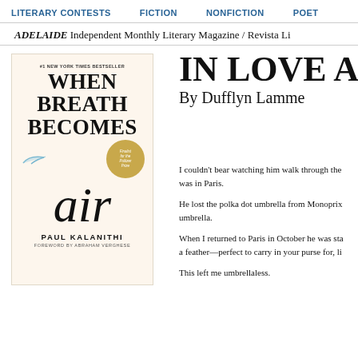LITERARY CONTESTS   FICTION   NONFICTION   POETRY
ADELAIDE Independent Monthly Literary Magazine / Revista Li
[Figure (photo): Book cover of 'When Breath Becomes Air' by Paul Kalanithi, #1 New York Times Bestseller, Finalist for the Pulitzer Prize, Foreword by Abraham Verghese. Cream background with large stylized title text and a feather illustration.]
IN LOVE AN
By Dufflyn Lamme
I couldn't bear watching him walk through the was in Paris.
He lost the polka dot umbrella from Monoprix umbrella.
When I returned to Paris in October he was sta a feather—perfect to carry in your purse for, li
This left me umbrellaless.